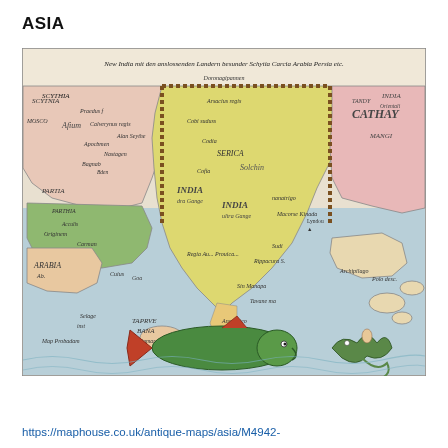ASIA
[Figure (map): Antique hand-coloured woodcut map of Asia showing India, Cathay, Arabia, Parthia and surrounding regions with sea monsters and a large fish in the foreground ocean. Title in German at the top reads 'New India mit den anslossenden Landern besunder Schytia Carcia Arabia Persia etc.']
https://maphouse.co.uk/antique-maps/asia/M4942-